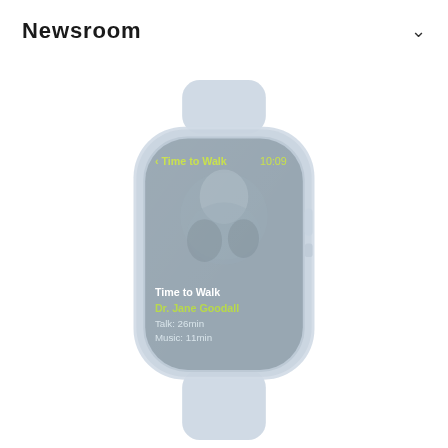Newsroom
[Figure (screenshot): Apple Watch showing Time to Walk feature with Dr. Jane Goodall. Screen displays: '< Time to Walk  10:09' at top in green/yellow text, a photo of Dr. Jane Goodall, then 'Time to Walk', 'Dr. Jane Goodall' in green, 'Talk: 26min', 'Music: 11min'. The watch has a light blue/silver aluminum case with a light blue sport band.]